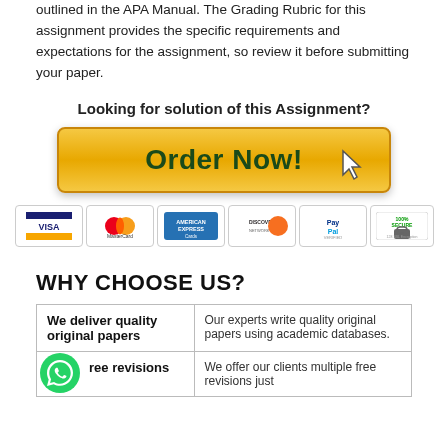outlined in the APA Manual. The Grading Rubric for this assignment provides the specific requirements and expectations for the assignment, so review it before submitting your paper.
Looking for solution of this Assignment?
[Figure (other): Orange 'Order Now!' button with cursor icon and payment logos: VISA, MasterCard, American Express, Discover, PayPal, 100% Secure]
WHY CHOOSE US?
| We deliver quality original papers | Our experts write quality original papers using academic databases. |
| Free revisions | We offer our clients multiple free revisions just |